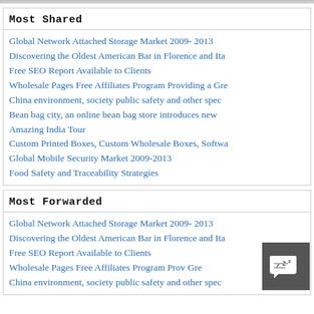Most Shared
Global Network Attached Storage Market 2009- 2013
Discovering the Oldest American Bar in Florence and Ita…
Free SEO Report Available to Clients
Wholesale Pages Free Affiliates Program Providing a Gre…
China environment, society public safety and other spec…
Bean bag city, an online bean bag store introduces new…
Amazing India Tour
Custom Printed Boxes, Custom Wholesale Boxes, Softwa…
Global Mobile Security Market 2009-2013
Food Safety and Traceability Strategies
Most Forwarded
Global Network Attached Storage Market 2009- 2013
Discovering the Oldest American Bar in Florence and Ita…
Free SEO Report Available to Clients
Wholesale Pages Free Affiliates Program Prov… Gre…
China environment, society public safety and other spec…